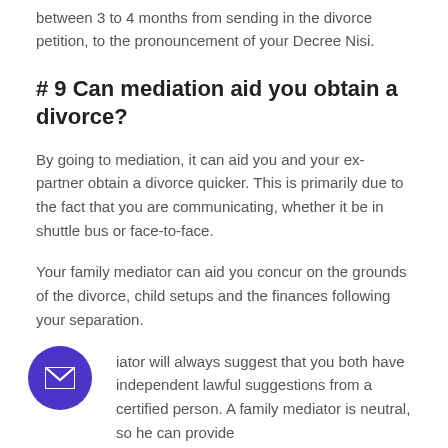between 3 to 4 months from sending in the divorce petition, to the pronouncement of your Decree Nisi.
# 9 Can mediation aid you obtain a divorce?
By going to mediation, it can aid you and your ex-partner obtain a divorce quicker. This is primarily due to the fact that you are communicating, whether it be in shuttle bus or face-to-face.
Your family mediator can aid you concur on the grounds of the divorce, child setups and the finances following your separation.
…iator will always suggest that you both have independent lawful suggestions from a certified person. A family mediator is neutral, so he can provide